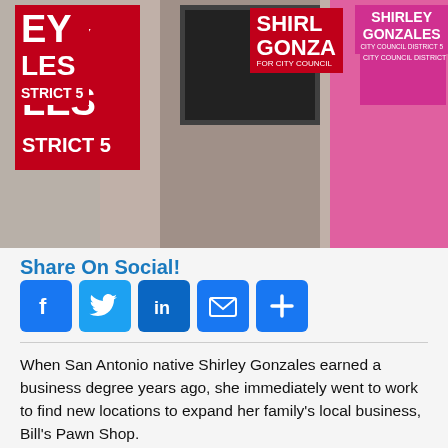[Figure (photo): Campaign photo showing Shirley Gonzales at a campaign event with District 5 signs and pink campaign shirts]
Share On Social!
When San Antonio native Shirley Gonzales earned a business degree years ago, she immediately went to work to find new locations to expand her family's local business, Bill's Pawn Shop.
[Figure (photo): Interior photo of what appears to be a pawn shop counter with green trim]
Gonzales studied the